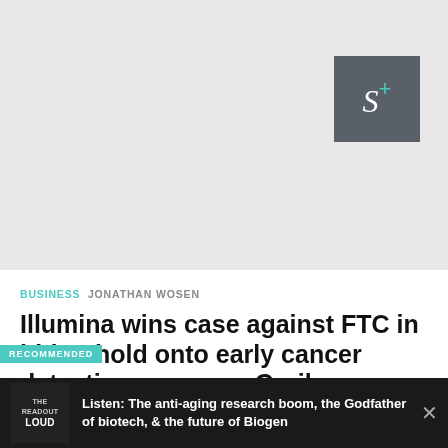[Figure (logo): S+ logo — letter S in italic serif on dark grey square background with teal plus sign superscript]
BUSINESS  JONATHAN WOSEN
Illumina wins case against FTC in bid to hold onto early cancer detection company Grail
RECOMMENDED
Listen: The anti-aging research boom, the Godfather of biotech, & the future of Biogen